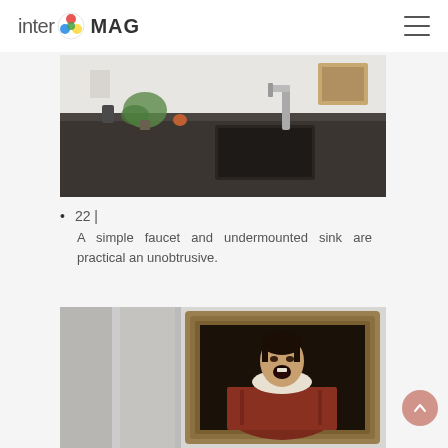inter MAG
[Figure (photo): Kitchen countertop with dark surface, a stainless steel undermount sink and a modern faucet, with plants and items in the background]
22 |
A simple faucet and undermounted sink are practical an unobtrusive.
[Figure (photo): A framed classical portrait painting of a woman with an open mouth, mounted on a light gray wall next to gray panels]